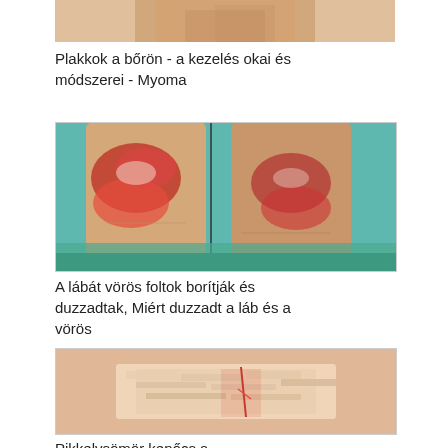[Figure (photo): Cropped image of a human hand/arm, partially visible at top of page]
Plakkok a bőrön - a kezelés okai és módszerei - Myoma
[Figure (photo): Two legs with red, swollen, inflamed skin patches showing dermatological condition]
A lábát vörös foltok borítják és duzzadtak, Miért duzzadt a láb és a vörös
[Figure (photo): Close-up of scaly, cracked, dry skin with redness - psoriasis condition]
Pikkelysömör kenőcs a leghatékonyabb
[Figure (photo): Partially visible image at the bottom of the page]